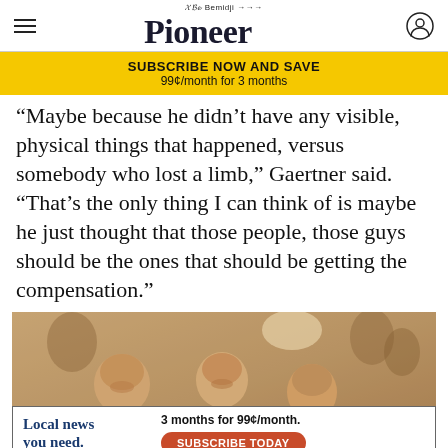Bemidji Pioneer
SUBSCRIBE NOW AND SAVE
99¢/month for 3 months
“Maybe because he didn’t have any visible, physical things that happened, versus somebody who lost a limb,” Gaertner said. “That’s the only thing I can think of is maybe he just thought that those people, those guys should be the ones that should be getting the compensation.”
[Figure (photo): Sepia-toned vintage photograph of three young men smiling together, likely at a social event, with other people visible in the background.]
Local news you need.
3 months for 99¢/month.
SUBSCRIBE TODAY